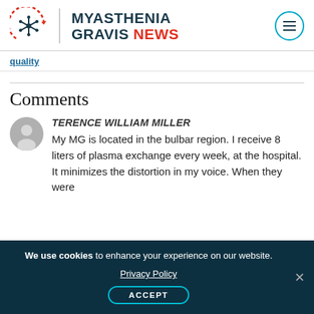[Figure (logo): Myasthenia Gravis News logo with snowflake/neuron icon and site name]
quality
Comments
TERENCE WILLIAM MILLER
My MG is located in the bulbar region. I receive 8 liters of plasma exchange every week, at the hospital. It minimizes the distortion in my voice. When they were
We use cookies to enhance your experience on our website. Privacy Policy ACCEPT